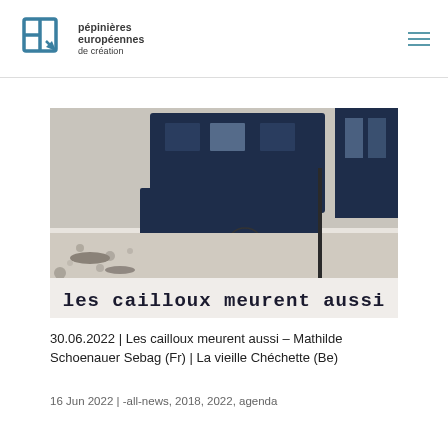pépinières européennes de création
[Figure (photo): Black and white high-contrast photo of a vehicle or bus scene with text overlay reading 'les cailloux meurent aussi' in typewriter-style font at the bottom.]
30.06.2022 | Les cailloux meurent aussi – Mathilde Schoenauer Sebag (Fr) | La vieille Chéchette (Be)
16 Jun 2022 | -all-news, 2018, 2022, agenda